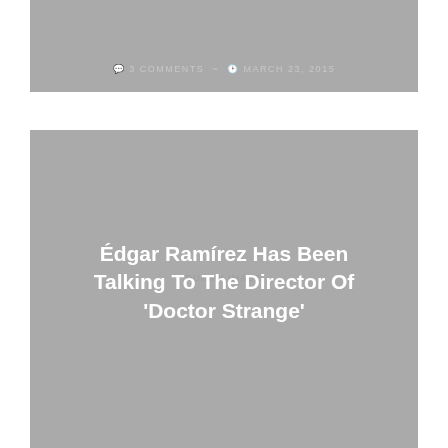[Figure (other): Gray placeholder card image at top with meta text showing 3 COMMENTS and MARCH 23, 2015]
3 COMMENTS ~ MARCH 23, 2015
[Figure (other): Gray featured image card with article title overlay and meta text]
Édgar Ramírez Has Been Talking To The Director Of 'Doctor Strange'
LEAVE A COMMENT ~ JUNE 25, 2014
[Figure (other): Gray placeholder card image at bottom, partially visible]